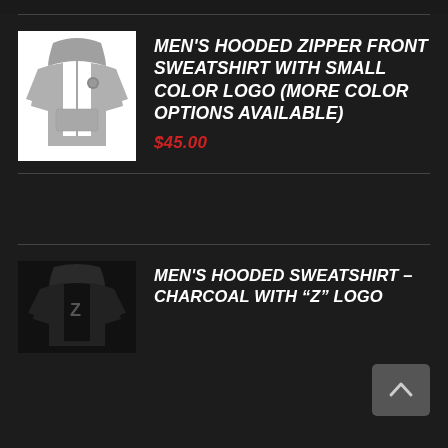[Figure (photo): Gray men's hooded zipper front sweatshirt on white background]
MEN'S HOODED ZIPPER FRONT SWEATSHIRT WITH SMALL COLOR LOGO (more color options available)
$45.00
[Figure (photo): Dark/charcoal men's hooded sweatshirt on dark background]
MEN'S HOODED SWEATSHIRT – CHARCOAL WITH "Z" LOGO